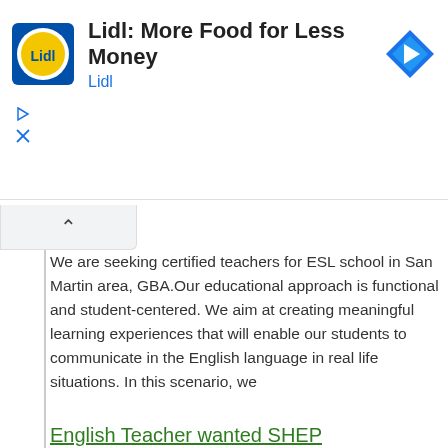[Figure (other): Lidl advertisement banner with Lidl logo, title 'Lidl: More Food for Less Money', subtitle 'Lidl', and a blue diamond navigation icon. Controls with play and close icons on the left.]
We are seeking certified teachers for ESL school in San Martin area, GBA.Our educational approach is functional and student-centered. We aim at creating meaningful learning experiences that will enable our students to communicate in the English language in real life situations. In this scenario, we
English Teacher wanted SHEP Foundation Colombia
South America Colombia Thu, 20 Feb 2020
SHEP Foundation Colombia is giving the opportunity to an English teacher to have the experience of working and sharing cultures in Colombia in a very small and peaceful town called Santa Helena del